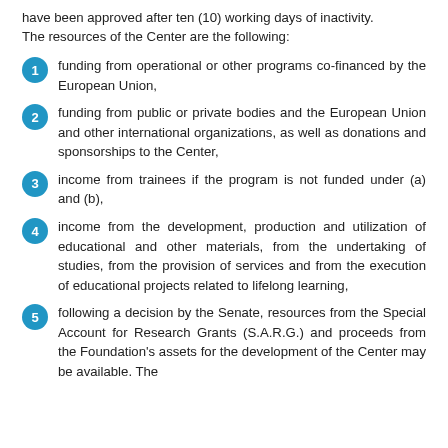have been approved after ten (10) working days of inactivity. The resources of the Center are the following:
funding from operational or other programs co-financed by the European Union,
funding from public or private bodies and the European Union and other international organizations, as well as donations and sponsorships to the Center,
income from trainees if the program is not funded under (a) and (b),
income from the development, production and utilization of educational and other materials, from the undertaking of studies, from the provision of services and from the execution of educational projects related to lifelong learning,
following a decision by the Senate, resources from the Special Account for Research Grants (S.A.R.G.) and proceeds from the Foundation's assets for the development of the Center may be available. The